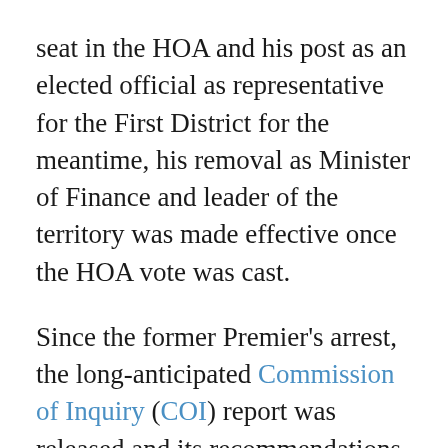seat in the HOA and his post as an elected official as representative for the First District for the meantime, his removal as Minister of Finance and leader of the territory was made effective once the HOA vote was cast.
Since the former Premier's arrest, the long-anticipated Commission of Inquiry (COI) report was released and its recommendations have since become the subject of high-level discussions between local elected officials and United Kingdom (UK) representatives.
The COI report has recommended a temporary partial suspension of the territory's constitution and the imposition of direct UK...